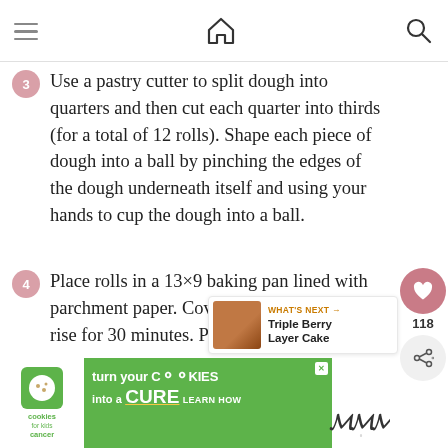Navigation header with hamburger menu, home icon, and search icon
Use a pastry cutter to split dough into quarters and then cut each quarter into thirds (for a total of 12 rolls). Shape each piece of dough into a ball by pinching the edges of the dough underneath itself and using your hands to cup the dough into a ball.
Place rolls in a 13×9 baking pan lined with parchment paper. Cover and allow rolls to rise for 30 minutes. Preheat oven to 350° F.
[Figure (screenshot): What's Next promotional box: Triple Berry Layer Cake]
[Figure (screenshot): Advertisement banner: cookies for kids cancer - turn your Cookies into a CURE LEARN HOW]